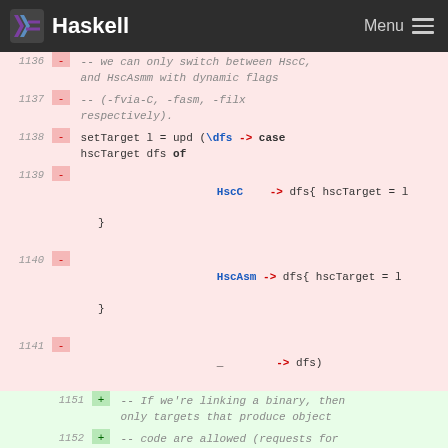Haskell — Menu
Code diff showing Haskell source changes, lines 1136-1155. Removed lines (pink): 1136-1141. Added lines (green): 1151-1155.